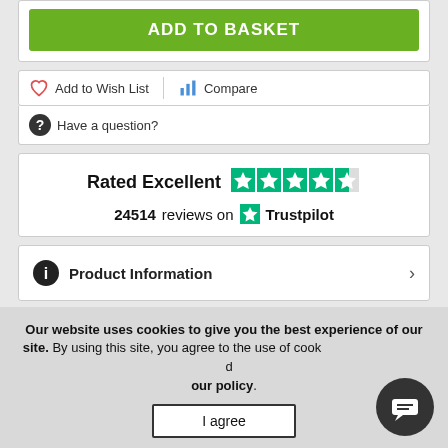ADD TO BASKET
Add to Wish List
Compare
Have a question?
Rated Excellent  24514 reviews on Trustpilot
Product Information
Specifications
Our website uses cookies to give you the best experience of our site. By using this site, you agree to the use of cookies. Find out more in our policy.
I agree